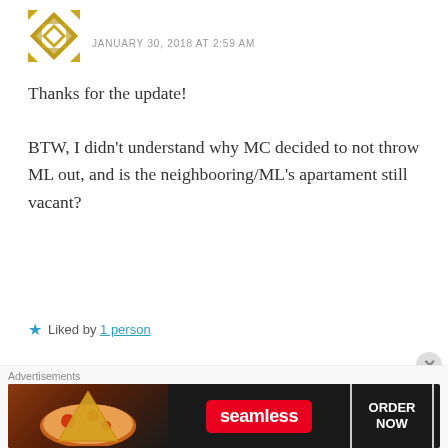JANUARY 30, 2018 AT 2:59 AM
Thanks for the update!
BTW, I didn't understand why MC decided to not throw ML out, and is the neighbooring/ML's apartament still vacant?
Liked by 1 person
Reply
viviserene
FEBRUARY 11, 2019 AT 11:11 AM
Advertisements
[Figure (other): Seamless food delivery advertisement banner showing pizza and ORDER NOW button]